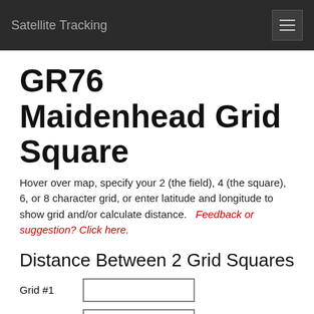Satellite Tracking
GR76 Maidenhead Grid Square
Hover over map, specify your 2 (the field), 4 (the square), 6, or 8 character grid, or enter latitude and longitude to show grid and/or calculate distance.   Feedback or suggestion? Click here.
Distance Between 2 Grid Squares
Grid #1 [input]
Grid #2 [input]
Find Distance (by grids)
Find Grid by Latitude & Longitude
Latitude #1 [input]